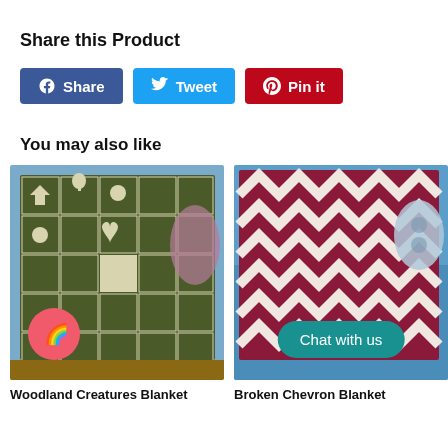Share this Product
[Figure (screenshot): Social sharing buttons: Facebook Share (blue), Twitter Tweet (light blue), Pinterest Pin it (red)]
You may also like
[Figure (photo): Woodland Creatures Blanket - dark olive green and cream crochet blanket with animal and plant motifs in grid squares, draped over a blue sofa]
Woodland Creatures Blanket
[Figure (photo): Broken Chevron Blanket - dark red/burgundy and white chevron pattern crochet blanket draped over a blue sofa with decorative pillow and teal Chat with us button overlay]
Broken Chevron Blanket